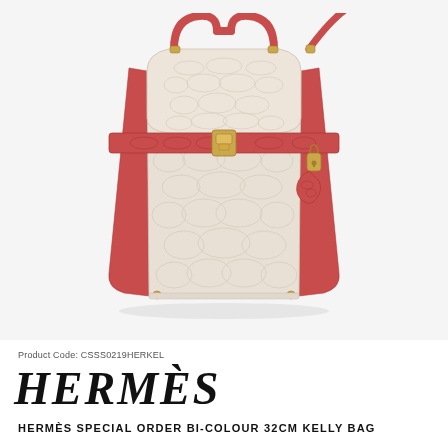[Figure (photo): Hermès bi-colour 32cm Kelly bag in cream/off-white matte alligator with red/coral alligator trim, gold hardware, top handle, shoulder strap, and padlock charm. Photographed on white background.]
Product Code: CSSS0219HERKEL
HERMÈS
HERMÈS SPECIAL ORDER BI-COLOUR 32CM KELLY BAG